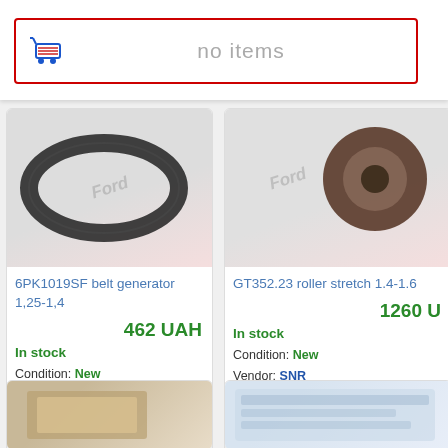no items
[Figure (screenshot): Shopping cart icon with red border search/cart bar showing 'no items']
6PK1019SF belt generator 1,25-1,4
462 UAH
In stock
Condition: New
Vendor: GATES
Code: 6PK1019SF
GT352.23 roller stretch 1.4-1.6
1260 U
In stock
Condition: New
Vendor: SNR
Code: GT352.23